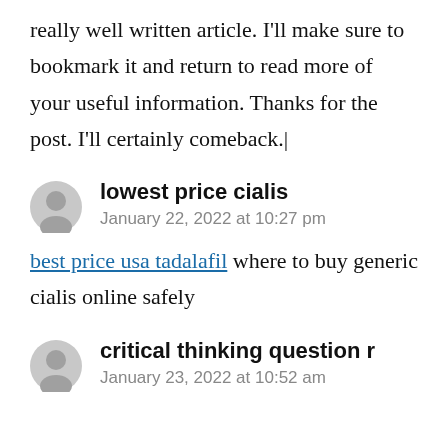really well written article. I'll make sure to bookmark it and return to read more of your useful information. Thanks for the post. I'll certainly comeback.|
lowest price cialis
January 22, 2022 at 10:27 pm
best price usa tadalafil where to buy generic cialis online safely
critical thinking question r
January 23, 2022 at 10:52 am